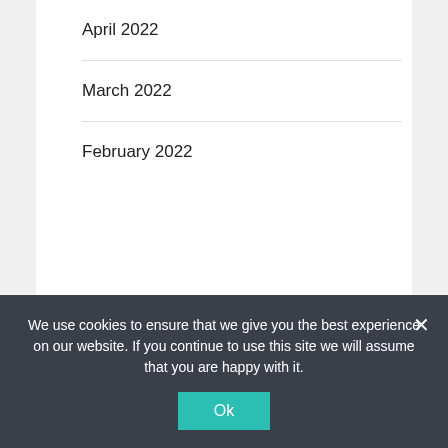April 2022
March 2022
February 2022
Categories
food addiction
food allergies
We use cookies to ensure that we give you the best experience on our website. If you continue to use this site we will assume that you are happy with it.